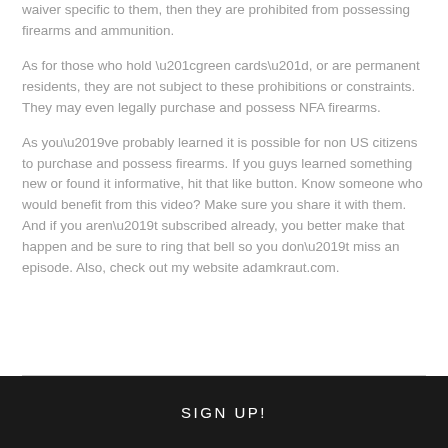waiver specific to them, then they are prohibited from possessing firearms and ammunition.
As for those who hold “green cards”, or are permanent residents, they are not subject to these prohibitions or constraints. They may even legally purchase and possess NFA firearms.
As you’ve probably learned it is possible for non US citizens to purchase and possess firearms. If you guys learned something new or found it informative, hit that like button. Know someone who would benefit from this video? Make sure you share it with them. And if you aren’t subscribed already, you better make that happen and be sure to ring that bell so you don’t miss an episode. Also, check out my website adamkraut.com.
SIGN UP!